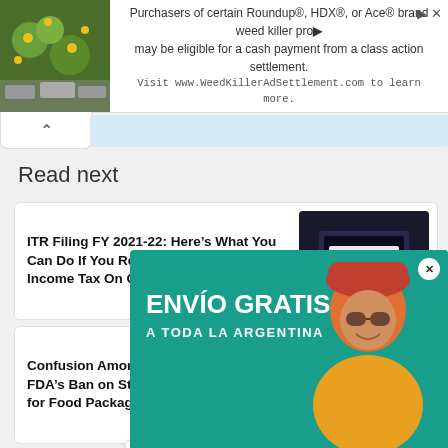[Figure (other): Advertisement banner: plant/nature image on left with text about Roundup, HDX, Ace weed killer class action settlement. Visit www.WeedKillerAdSettlement.com]
Read next
ITR Filing FY 2021-22: Here’s What You Can Do If You Receive Notice From Income Tax On Claiming Refund
Confusion Among Delivery Agents Over FDA’s Ban on Stapler Pins, Cello Tapes for Food Packaging
Ganesh ... hi 2022: Learn About the Shu... and Mo...
[Figure (other): Advertisement overlay: ENVIO GRATIS A TODA LA ARGENTINA on teal background with person wearing red hat and sunglasses]